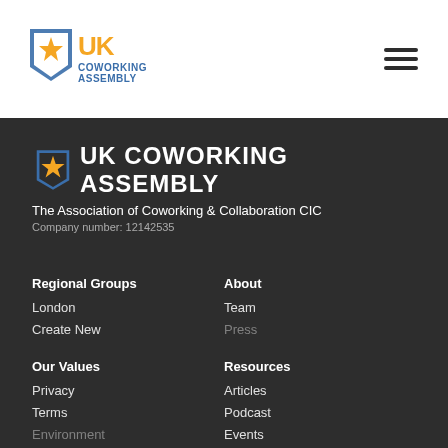[Figure (logo): UK Coworking Assembly logo - blue shield shape with yellow star, with 'UK' in yellow and 'COWORKING ASSEMBLY' in blue text]
[Figure (other): Hamburger menu icon - three horizontal dark lines]
UK COWORKING ASSEMBLY
The Association of Coworking & Collaboration CIC
Company number: 12142535
Regional Groups
London
Create New
About
Team
Press
Our Values
Privacy
Terms
Environment
Resources
Articles
Podcast
Events